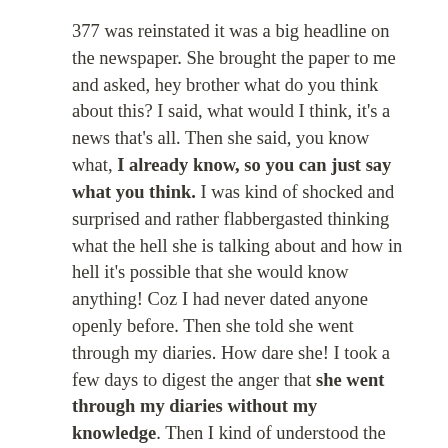377 was reinstated it was a big headline on the newspaper. She brought the paper to me and asked, hey brother what do you think about this? I said, what would I think, it's a news that's all. Then she said, you know what, I already know, so you can just say what you think. I was kind of shocked and surprised and rather flabbergasted thinking what the hell she is talking about and how in hell it's possible that she would know anything! Coz I had never dated anyone openly before. Then she told she went through my diaries. How dare she! I took a few days to digest the anger that she went through my diaries without my knowledge. Then I kind of understood the maturity she had. Coz the reading incident apparently had happened almost 2-3 years ago, she didn't tell my parents ANYTHING about it ever. Rather she was trying to counsel me in a funny manner, saying you know perhaps it's a passing phase, perhaps you